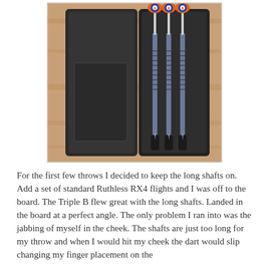[Figure (photo): A set of darts in an open black dart case, placed on a wooden surface. The darts have blue spiral-grooved barrels, long shafts, and orange/blue/white flights visible at the top. The black plastic case is open with the lid to the left.]
For the first few throws I decided to keep the long shafts on. Add a set of standard Ruthless RX4 flights and I was off to the board. The Triple B flew great with the long shafts. Landed in the board at a perfect angle. The only problem I ran into was the jabbing of myself in the cheek. The shafts are just too long for my throw and when I would hit my cheek the dart would slip changing my finger placement on the